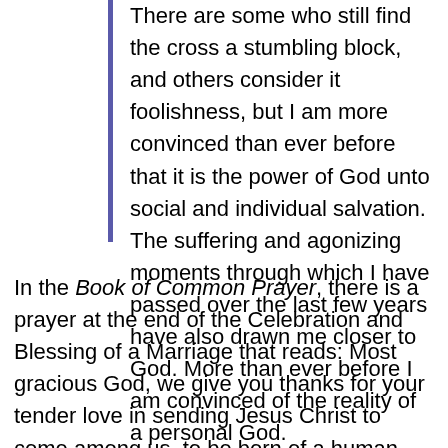There are some who still find the cross a stumbling block, and others consider it foolishness, but I am more convinced than ever before that it is the power of God unto social and individual salvation. The suffering and agonizing moments through which I have passed over the last few years have also drawn me closer to God. More than ever before I am convinced of the reality of a personal God.
In the Book of Common Prayer, there is a prayer at the end of the Celebration and Blessing of a Marriage that reads: Most gracious God, we give you thanks for your tender love in sending Jesus Christ to come among us, to be born of a human mother, and to make the way of the cross to be